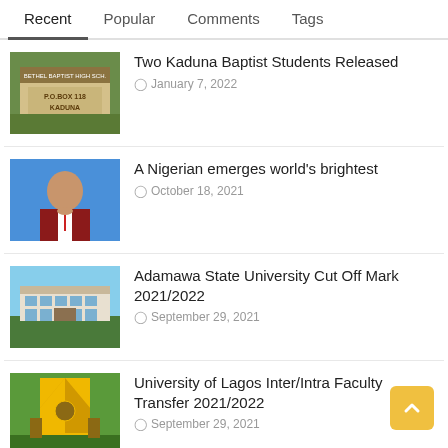Recent | Popular | Comments | Tags
Two Kaduna Baptist Students Released — January 7, 2022
A Nigerian emerges world's brightest — October 18, 2021
Adamawa State University Cut Off Mark 2021/2022 — September 29, 2021
University of Lagos Inter/Intra Faculty Transfer 2021/2022 — September 29, 2021
Nigerian Law School Admission 2021 — September 29, 2021